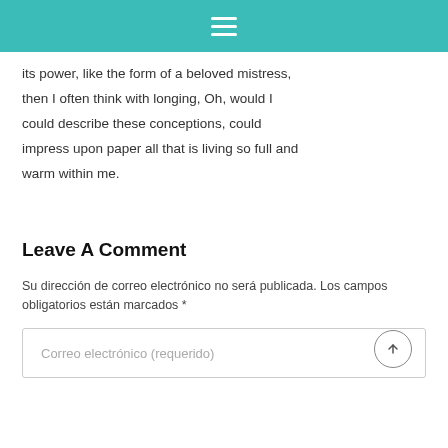≡
its power, like the form of a beloved mistress, then I often think with longing, Oh, would I could describe these conceptions, could impress upon paper all that is living so full and warm within me.
Leave A Comment
Su dirección de correo electrónico no será publicada. Los campos obligatorios están marcados *
Correo electrónico (requerido)